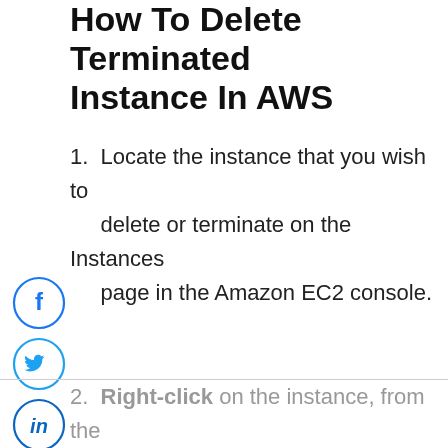How To Delete Terminated Instance In AWS
1. Locate the instance that you wish to delete or terminate on the Instances page in the Amazon EC2 console.
[Figure (infographic): Social media share icons: Facebook (blue circle), Twitter (blue circle), LinkedIn (blue circle), Pinterest (red circle), and a grey back/collapse arrow circle.]
2. Right-click on the instance, from the